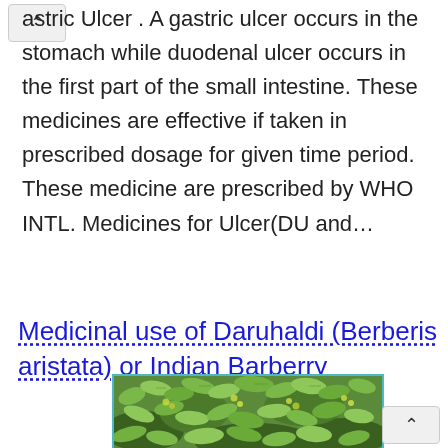astric Ulcer . A gastric ulcer occurs in the stomach while duodenal ulcer occurs in the first part of the small intestine. These medicines are effective if taken in prescribed dosage for given time period. These medicine are prescribed by WHO INTL. Medicines for Ulcer(DU and…
Medicinal use of Daruhaldi (Berberis aristata) or Indian Barberry
[Figure (photo): Close-up photograph of green leaves and small yellow berries of Berberis aristata (Indian Barberry / Daruhaldi) plant]